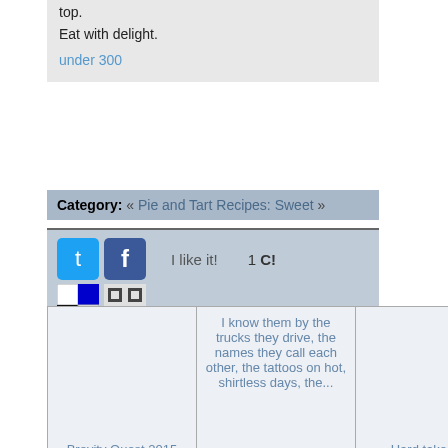top.
Eat with delight.
under 300
Category: « Pie and Tart Recipes: Sweet »
[Figure (screenshot): Social media sharing icons: Twitter, Facebook, Delicious, and StumbleUpon, Reddit icons with 'I like it!' and '1 C!' text]
| Brevity Quest 2015 | I know them by the trucks they drive, the names they call each other, the tattoos on hot, shirtless days, the... | Hard takeoff | God is a high school science teacher |